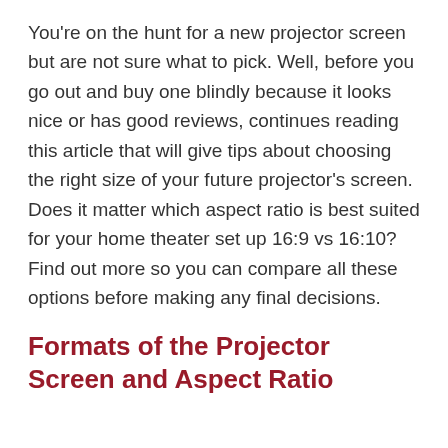You're on the hunt for a new projector screen but are not sure what to pick. Well, before you go out and buy one blindly because it looks nice or has good reviews, continues reading this article that will give tips about choosing the right size of your future projector's screen. Does it matter which aspect ratio is best suited for your home theater set up 16:9 vs 16:10? Find out more so you can compare all these options before making any final decisions.
Formats of the Projector Screen and Aspect Ratio